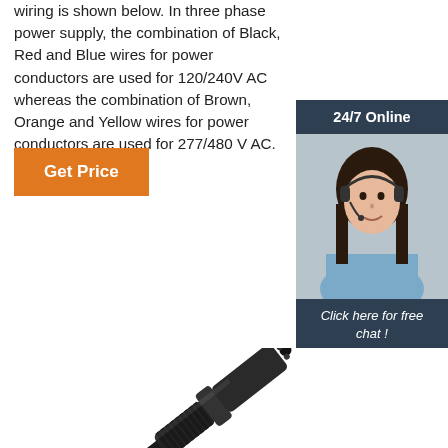wiring is shown below. In three phase power supply, the combination of Black, Red and Blue wires for power conductors are used for 120/240V AC whereas the combination of Brown, Orange and Yellow wires for power conductors are used for 277/480 V AC.
[Figure (other): Get Price button - orange rectangular button with white text]
[Figure (photo): Customer service representative - woman with headset smiling, with 24/7 Online header and Click here for free chat / QUOTATION button in dark blue sidebar]
[Figure (photo): Electrical connector product photo - black cylindrical electrical connector/plug shown diagonally against white background]